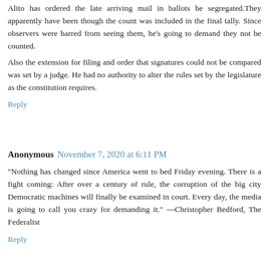Alito has ordered the late arriving mail in ballots be segregated. They apparently have been though the count was included in the final tally. Since observers were barred from seeing them, he's going to demand they not be counted.
Also the extension for filing and order that signatures could not be compared was set by a judge. He had no authority to alter the rules set by the legislature as the constitution requires.
Reply
Anonymous November 7, 2020 at 6:11 PM
"Nothing has changed since America went to bed Friday evening. There is a fight coming: After over a century of rule, the corruption of the big city Democratic machines will finally be examined in court. Every day, the media is going to call you crazy for demanding it." ---Christopher Bedford, The Federalist
Reply